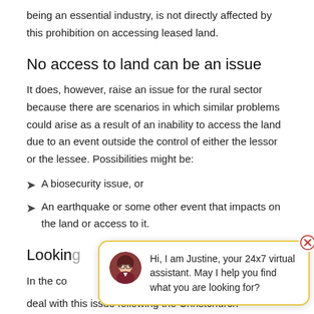being an essential industry, is not directly affected by this prohibition on accessing leased land.
No access to land can be an issue
It does, however, raise an issue for the rural sector because there are scenarios in which similar problems could arise as a result of an inability to access the land due to an event outside the control of either the lessor or the lessee. Possibilities might be:
A biosecurity issue, or
An earthquake or some other event that impacts on the land or access to it.
Looking...
In the co...
deal with this issue following the Christchurch...
[Figure (other): Chat popup with virtual assistant Justine: 'Hi, I am Justine, your 24x7 virtual assistant. May I help you find what you are looking for?']